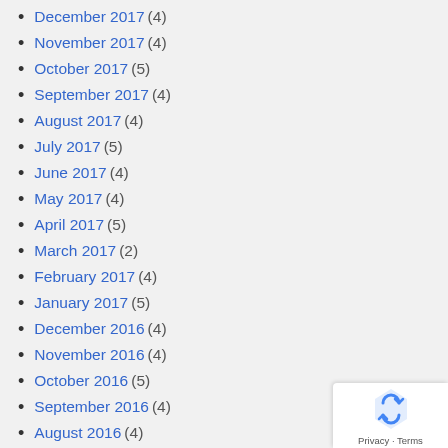December 2017 (4)
November 2017 (4)
October 2017 (5)
September 2017 (4)
August 2017 (4)
July 2017 (5)
June 2017 (4)
May 2017 (4)
April 2017 (5)
March 2017 (2)
February 2017 (4)
January 2017 (5)
December 2016 (4)
November 2016 (4)
October 2016 (5)
September 2016 (4)
August 2016 (4)
July 2016 (5)